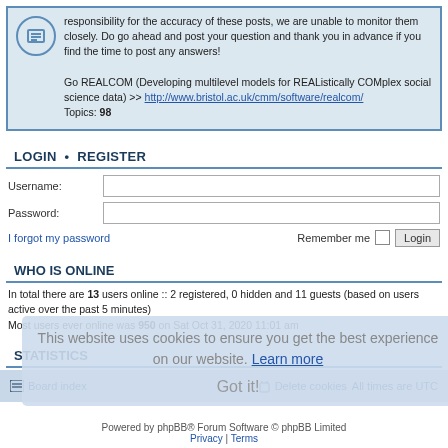responsibility for the accuracy of these posts, we are unable to monitor them closely. Do go ahead and post your question and thank you in advance if you find the time to post any answers!

Go REALCOM (Developing multilevel models for REAListically COMplex social science data) >> http://www.bristol.ac.uk/cmm/software/realcom/
Topics: 98
LOGIN • REGISTER
Username:
Password:
I forgot my password    Remember me  Login
WHO IS ONLINE
In total there are 13 users online :: 2 registered, 0 hidden and 11 guests (based on users active over the past 5 minutes)
Most users ever online was 950 on Sat Oct 31, 2020 11:01 am
STATISTICS
Total posts 6669 • Total topics 2958 • Total members 2599 • Our newest member toothworksindia
Board index   Delete cookies   All times are UTC
Powered by phpBB® Forum Software © phpBB Limited
Privacy | Terms